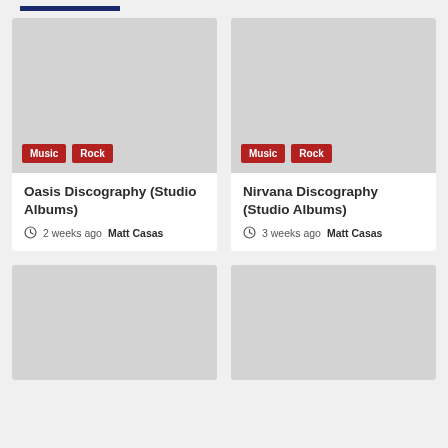[Figure (screenshot): Dark blue horizontal bar at top of page, like a progress or navigation indicator]
[Figure (photo): Gray placeholder image for Oasis Discography card with Music and Rock tags]
Oasis Discography (Studio Albums)
2 weeks ago  Matt Casas
[Figure (photo): Gray placeholder image for Nirvana Discography card with Music and Rock tags]
Nirvana Discography (Studio Albums)
3 weeks ago  Matt Casas
[Figure (photo): Gray placeholder image for bottom-left card, partially visible]
[Figure (photo): Gray placeholder image for bottom-right card, partially visible]